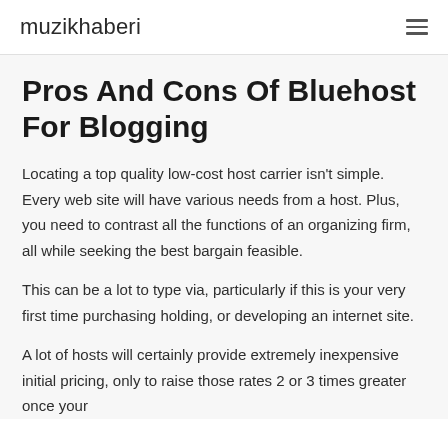muzikhaberi
Pros And Cons Of Bluehost For Blogging
Locating a top quality low-cost host carrier isn't simple. Every web site will have various needs from a host. Plus, you need to contrast all the functions of an organizing firm, all while seeking the best bargain feasible.
This can be a lot to type via, particularly if this is your very first time purchasing holding, or developing an internet site.
A lot of hosts will certainly provide extremely inexpensive initial pricing, only to raise those rates 2 or 3 times greater once your